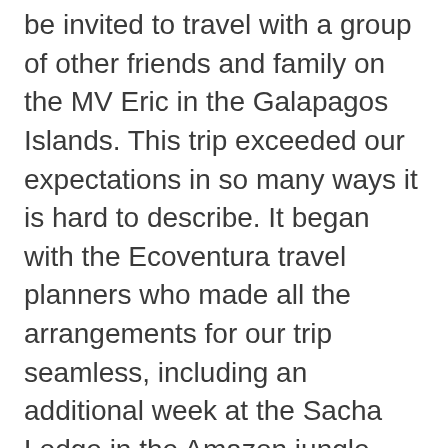be invited to travel with a group of other friends and family on the MV Eric in the Galapagos Islands. This trip exceeded our expectations in so many ways it is hard to describe. It began with the Ecoventura travel planners who made all the arrangements for our trip seamless, including an additional week at the Sacha Lodge in the Amazon jungle.
The staff on the MV Eric was wonderful from the moment we arrived on the boat, where we were met with drinks and snacks and given a warm welcome by the naturalist